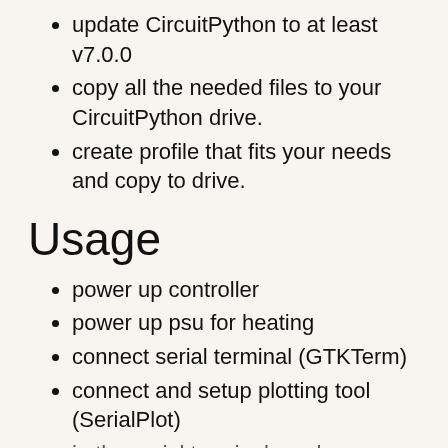update CircuitPython to at least v7.0.0
copy all the needed files to your CircuitPython drive.
create profile that fits your needs and copy to drive.
Usage
power up controller
power up psu for heating
connect serial terminal (GTKTerm)
connect and setup plotting tool (SerialPlot)
in the serial terminal you have a basic